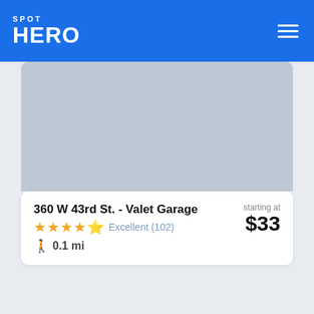SPOT HERO
[Figure (screenshot): Map image placeholder showing a gray area representing a map view]
360 W 43rd St. - Valet Garage
starting at $33
Excellent (102)
0.1 mi
[Figure (screenshot): Second map image placeholder, gray area, partially visible at bottom of page]